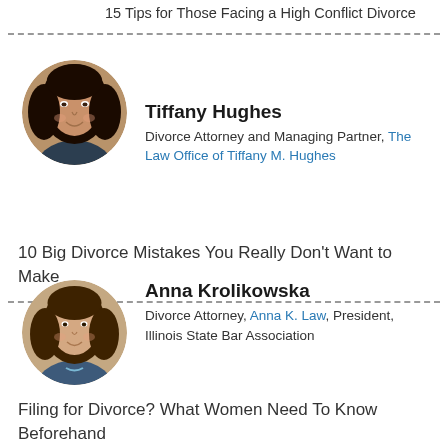15 Tips for Those Facing a High Conflict Divorce
[Figure (photo): Circular portrait photo of Tiffany Hughes, a woman with long dark hair, smiling]
Tiffany Hughes
Divorce Attorney and Managing Partner, The Law Office of Tiffany M. Hughes
10 Big Divorce Mistakes You Really Don't Want to Make
[Figure (photo): Circular portrait photo of Anna Krolikowska, a woman with medium brown hair, smiling]
Anna Krolikowska
Divorce Attorney, Anna K. Law, President, Illinois State Bar Association
Filing for Divorce? What Women Need To Know Beforehand